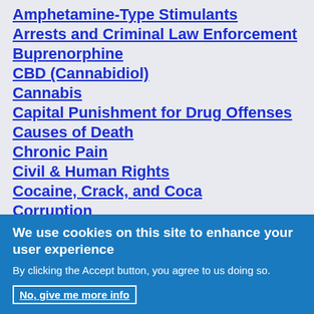Amphetamine-Type Stimulants
Arrests and Criminal Law Enforcement
Buprenorphine
CBD (Cannabidiol)
Cannabis
Capital Punishment for Drug Offenses
Causes of Death
Chronic Pain
Civil & Human Rights
Cocaine, Crack, and Coca
Corruption
We use cookies on this site to enhance your user experience
By clicking the Accept button, you agree to us doing so.
No, give me more info